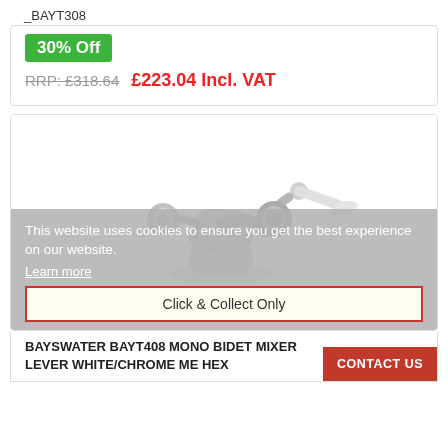_BAYT308
30% Off
RRP: £318.64   £223.04 Incl. VAT
[Figure (photo): Chrome and white bidet mono mixer tap with two lever handles on a white background]
This website uses cookies to ensure you get the best experience on our website.
Learn more
Click & Collect Only
BAYSWATER BAYT408 MONO BIDET MIXER LEVER WHITE/CHROME ME HEX
CONTACT US